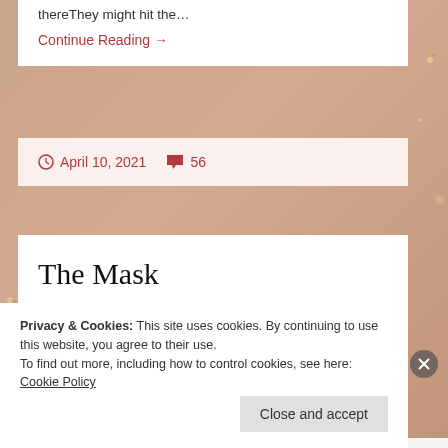thereThey might hit the…
Continue Reading →
April 10, 2021   56
The Mask
[Figure (photo): Blurred bokeh lights photograph, warm golden tones with dark overlay at top]
Privacy & Cookies: This site uses cookies. By continuing to use this website, you agree to their use.
To find out more, including how to control cookies, see here: Cookie Policy
Close and accept